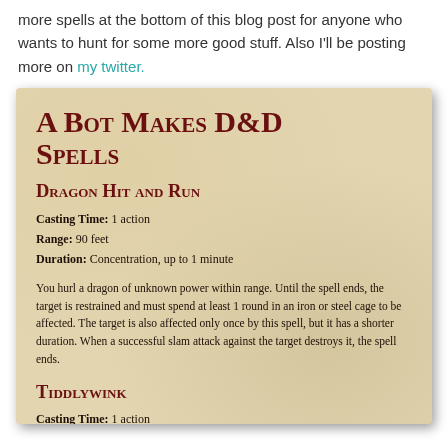more spells at the bottom of this blog post for anyone who wants to hunt for some more good stuff. Also I'll be posting more on my twitter.
[Figure (illustration): Parchment-styled D&D spell card with title 'A Bot Makes D&D Spells', containing spell 'Dragon Hit and Run' with casting details and description, and 'Tiddlywink' spell beginning]